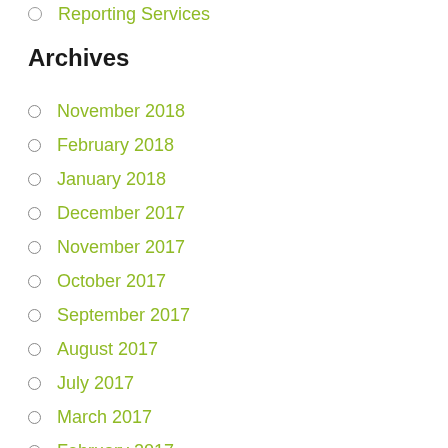Reporting Services
Archives
November 2018
February 2018
January 2018
December 2017
November 2017
October 2017
September 2017
August 2017
July 2017
March 2017
February 2017
January 2017